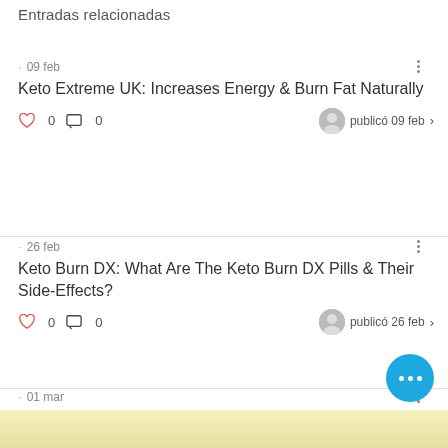Entradas relacionadas
· 09 feb
Keto Extreme UK: Increases Energy & Burn Fat Naturally
♡ 0  💬 0  publicó 09 feb
· 26 feb
Keto Burn DX: What Are The Keto Burn DX Pills & Their Side-Effects?
♡ 0  💬 0  publicó 26 feb
· 01 mar
https://nutradiary.com/keto-burn-dx/
♡ 0  💬 0  publicó ...